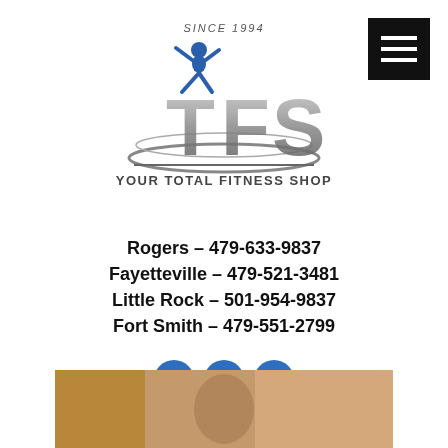[Figure (logo): Your Total Fitness Shop (YTFS) logo with a blue jumping figure, grey TFS letters, swoosh, and text 'SINCE 1994' and 'YOUR TOTAL FITNESS SHOP']
[Figure (other): Black hamburger menu button with three white horizontal lines in top-right corner]
Rogers – 479-633-9837
Fayetteville – 479-521-3481
Little Rock – 501-954-9837
Fort Smith – 479-551-2799
[Figure (other): Three blue circular social media icon buttons (Facebook, Instagram, and another social platform)]
[Figure (photo): Partial photo at bottom showing fitness equipment or a person exercising, with warm brown/orange tones]